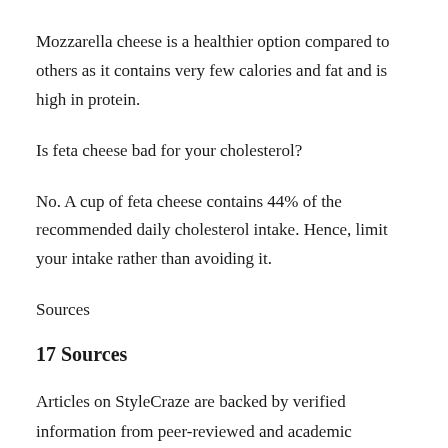Mozzarella cheese is a healthier option compared to others as it contains very few calories and fat and is high in protein.
Is feta cheese bad for your cholesterol?
No. A cup of feta cheese contains 44% of the recommended daily cholesterol intake. Hence, limit your intake rather than avoiding it.
Sources
17 Sources
Articles on StyleCraze are backed by verified information from peer-reviewed and academic research papers, reputed organizations, research institutions, and medical associations to ensure accuracy and relevance. Read our